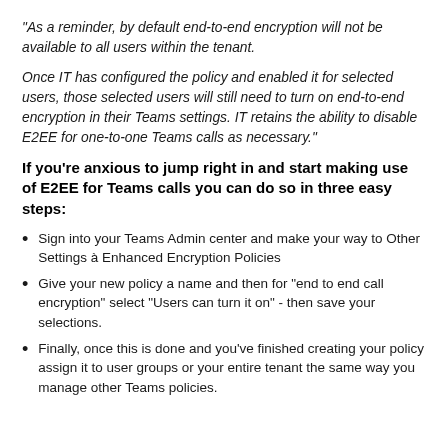"As a reminder, by default end-to-end encryption will not be available to all users within the tenant.

Once IT has configured the policy and enabled it for selected users, those selected users will still need to turn on end-to-end encryption in their Teams settings. IT retains the ability to disable E2EE for one-to-one Teams calls as necessary."
If you're anxious to jump right in and start making use of E2EE for Teams calls you can do so in three easy steps:
Sign into your Teams Admin center and make your way to Other Settings à Enhanced Encryption Policies
Give your new policy a name and then for "end to end call encryption" select "Users can turn it on" - then save your selections.
Finally, once this is done and you've finished creating your policy assign it to user groups or your entire tenant the same way you manage other Teams policies.